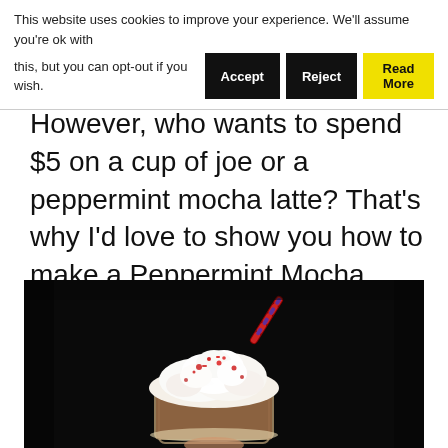This website uses cookies to improve your experience. We'll assume you're ok with this, but you can opt-out if you wish. [Accept] [Reject] [Read More]
However, who wants to spend $5 on a cup of joe or a peppermint mocha latte? That's why I'd love to show you how to make a Peppermint Mocha Latte!
[Figure (photo): A peppermint mocha latte in a glass cup topped with whipped cream, crushed candy cane, and a decorative straw, held against a dark background.]